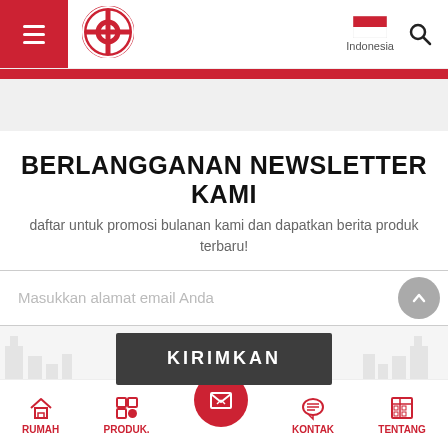Navigation header with hamburger menu, logo, Indonesia flag, and search icon
BERLANGGANAN NEWSLETTER KAMI
daftar untuk promosi bulanan kami dan dapatkan berita produk terbaru!
Masukkan alamat email Anda
KIRIMKAN
RUMAH | PRODUK. | (newsletter icon) | KONTAK | TENTANG